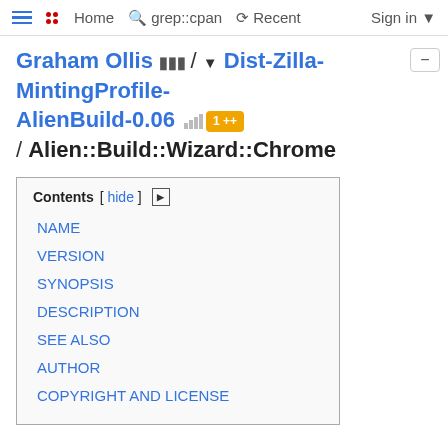Home  grep::cpan  Recent  Sign in
Graham Ollis / Dist-Zilla-MintingProfile-AlienBuild-0.06 1 ++ / Alien::Build::Wizard::Chrome
| Contents |
| --- |
| NAME |
| VERSION |
| SYNOPSIS |
| DESCRIPTION |
| SEE ALSO |
| AUTHOR |
| COPYRIGHT AND LICENSE |
NAME
Alien::Build::Wizard::Chrome - Wizard chrome